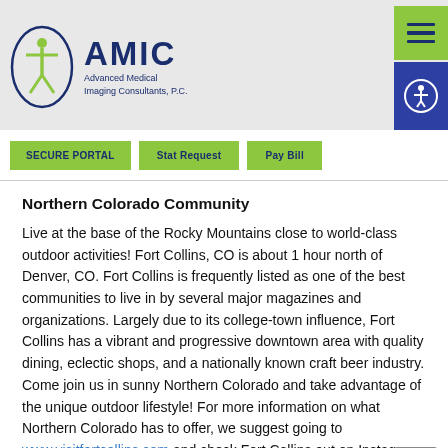[Figure (logo): AMIC Advanced Medical Imaging Consultants, P.C. logo with green person figure and circular arc, dark blue text]
SECURE PORTAL
Stat Request
Pay Bill
Northern Colorado Community
Live at the base of the Rocky Mountains close to world-class outdoor activities!  Fort Collins, CO is about 1 hour north of Denver, CO.  Fort Collins is frequently listed as one of the best communities to live in by several major magazines and organizations. Largely due to its college-town influence, Fort Collins has a vibrant and progressive downtown area with quality dining, eclectic shops, and a nationally known craft beer industry.  Come join us in sunny Northern Colorado and take advantage of the unique outdoor lifestyle!  For more information on what Northern Colorado has to offer, we suggest going to www.visitfortcollins.com and check Fort Collins out on Instagram @VisitFtCollins